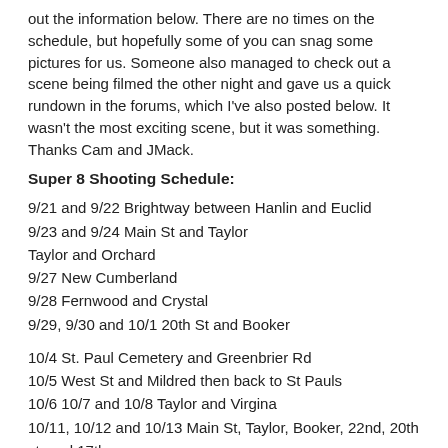out the information below. There are no times on the schedule, but hopefully some of you can snag some pictures for us. Someone also managed to check out a scene being filmed the other night and gave us a quick rundown in the forums, which I've also posted below. It wasn't the most exciting scene, but it was something. Thanks Cam and JMack.
Super 8 Shooting Schedule:
9/21 and 9/22 Brightway between Hanlin and Euclid
9/23 and 9/24 Main St and Taylor
Taylor and Orchard
9/27 New Cumberland
9/28 Fernwood and Crystal
9/29, 9/30 and 10/1 20th St and Booker
10/4 St. Paul Cemetery and Greenbrier Rd
10/5 West St and Mildred then back to St Pauls
10/6 10/7 and 10/8 Taylor and Virgina
10/11, 10/12 and 10/13 Main St, Taylor, Booker, 22nd, 20th st. and 17th
10/14 Downtown Main Street then back to Weirton Hgts
Last night around 9 pm I watched them a film 1 of the scenes for the movie. The scene shows the long blonde haired girl riding a bike down a little hill turning right heading up the street, then seconds later a mustang or camaro comes flying down, slams on the breaks, and peels to the right (looks like chasing her) I took a few photos of the street..they had lights of all different colors to make it super white and a few to make